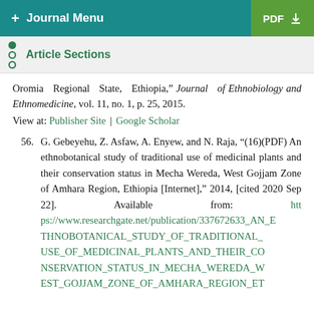+ Journal Menu | PDF
Article Sections
Oromia Regional State, Ethiopia," Journal of Ethnobiology and Ethnomedicine, vol. 11, no. 1, p. 25, 2015.
View at: Publisher Site | Google Scholar
56. G. Gebeyehu, Z. Asfaw, A. Enyew, and N. Raja, “(16)(PDF) An ethnobotanical study of traditional use of medicinal plants and their conservation status in Mecha Wereda, West Gojjam Zone of Amhara Region, Ethiopia [Internet],” 2014, [cited 2020 Sep 22]. Available from: https://www.researchgate.net/publication/337672633_AN_ETHNOBOTANICAL_STUDY_OF_TRADITIONAL_USE_OF_MEDICINAL_PLANTS_AND_THEIR_CONSERVATION_STATUS_IN_MECHA_WEREDA_WEST_GOJJAM_ZONE_OF_AMHARA_REGION_ET